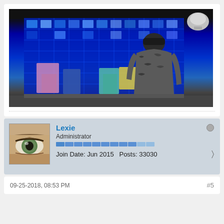[Figure (photo): A person wearing a dark beanie hat and camouflage jacket, seated with their back to the camera, facing a large illuminated blue grid wall display with various colored boxes/packages arranged in front of it. A metallic lamp is visible in the upper right corner.]
Lexie
Administrator
Join Date: Jun 2015    Posts: 33030
09-25-2018, 08:53 PM
#5